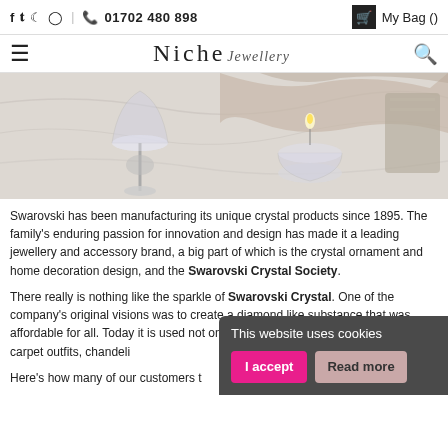f  tw  p  ig  |  📞 01702 480 898    My Bag ()
Niche Jewellery
[Figure (photo): Crystal candle holders and decorative items on a marble surface with a lit tealight candle in a crystal holder and a crystal champagne flute]
Swarovski has been manufacturing its unique crystal products since 1895. The family's enduring passion for innovation and design has made it a leading jewellery and accessory brand, a big part of which is the crystal ornament and home decoration design, and the Swarovski Crystal Society.
There really is nothing like the sparkle of Swarovski Crystal. One of the company's original visions was to create a diamond like substance that was affordable for all. Today it is used not only in jewellery but in costumes, red carpet outfits, chandeliers and for many other home decorations for the home.
Here's how many of our customers think about Swarovski Crystal in their homes.
This website uses cookies
I accept   Read more